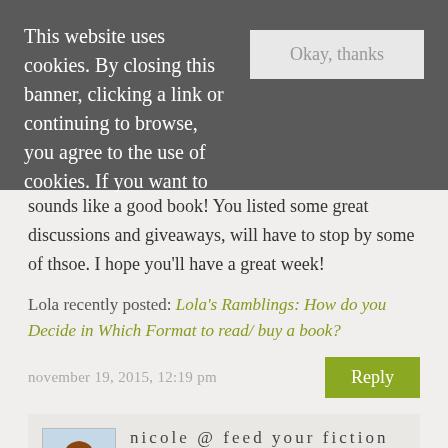This website uses cookies. By closing this banner, clicking a link or continuing to browse, you agree to the use of cookies. If you want to know more or withdraw your consent, please refer to the cookie policy.
Okay, thanks
sounds like a good book! You listed some great discussions and giveaways, will have to stop by some of thsoe. I hope you'll have a great week!
Lola recently posted: Lola's Ramblings: How do you Decide in Which Format to read/ buy a book?
november 19, 2015, 12:19 pm
Reply
nicole @ feed your fiction addiction
Thanks, Lola! Yes, since it's such a big